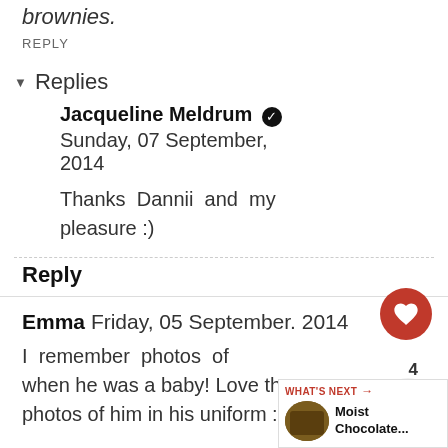brownies.
REPLY
▾ Replies
Jacqueline Meldrum ✓
Sunday, 07 September, 2014
Thanks Dannii and my pleasure :)
Reply
Emma Friday, 05 September. 2014
I remember photos of when he was a baby! Love the photos of him in his uniform :)